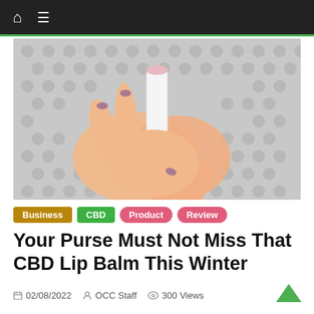Navigation bar with home icon and hamburger menu
[Figure (photo): Hands holding a white CBD lip balm tube with pink cap, against a grey mosaic tile background]
Business
CBD
Product
Review
Your Purse Must Not Miss That CBD Lip Balm This Winter
02/08/2022  OCC Staff  300 Views